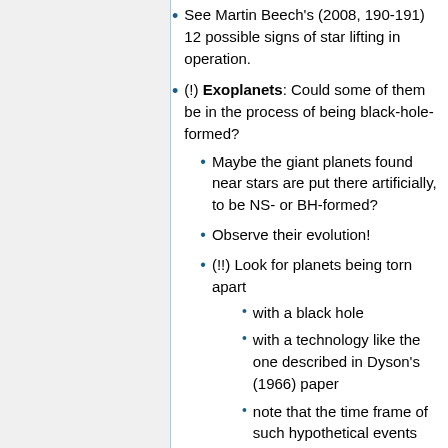See Martin Beech's (2008, 190-191) 12 possible signs of star lifting in operation.
(!) Exoplanets: Could some of them be in the process of being black-hole-formed?
Maybe the giant planets found near stars are put there artificially, to be NS- or BH-formed?
Observe their evolution!
(!!) Look for planets being torn apart
with a black hole
with a technology like the one described in Dyson's (1966) paper
note that the time frame of such hypothetical events